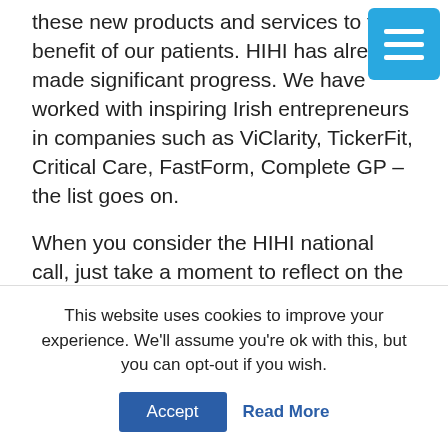these new products and services to the benefit of our patients. HIHI has already made significant progress. We have worked with inspiring Irish entrepreneurs in companies such as ViClarity, TickerFit, Critical Care, FastForm, Complete GP – the list goes on.
When you consider the HIHI national call, just take a moment to reflect on the possibilities that an initiative like HIHI brings. Here is an Irish grown, government backed, good news story in health with potential for change that is boundless.
Prof John R Higgins is Principal Investigator Health
This website uses cookies to improve your experience. We'll assume you're ok with this, but you can opt-out if you wish.